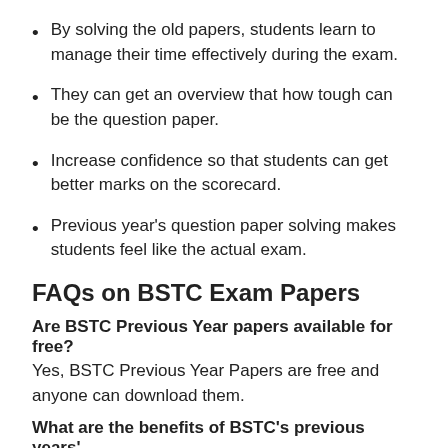By solving the old papers, students learn to manage their time effectively during the exam.
They can get an overview that how tough can be the question paper.
Increase confidence so that students can get better marks on the scorecard.
Previous year's question paper solving makes students feel like the actual exam.
FAQs on BSTC Exam Papers
Are BSTC Previous Year papers available for free?
Yes, BSTC Previous Year Papers are free and anyone can download them.
What are the benefits of BSTC's previous years' question papers?